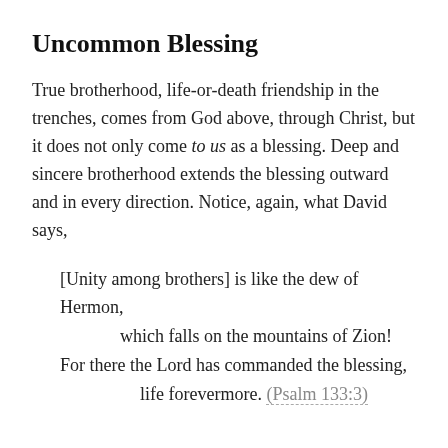Uncommon Blessing
True brotherhood, life-or-death friendship in the trenches, comes from God above, through Christ, but it does not only come to us as a blessing. Deep and sincere brotherhood extends the blessing outward and in every direction. Notice, again, what David says,
[Unity among brothers] is like the dew of Hermon,
        which falls on the mountains of Zion!
    For there the Lord has commanded the blessing,
        life forevermore. (Psalm 133:3)